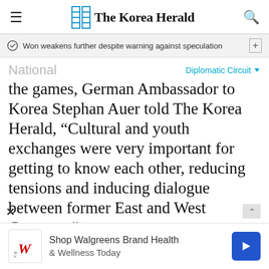The Korea Herald
Won weakens further despite warning against speculation
National
Diplomatic Circuit
the games, German Ambassador to Korea Stephan Auer told The Korea Herald, “Cultural and youth exchanges were very important for getting to know each other, reducing tensions and inducing dialogue between former East and West Germany.”
He added, “The experiences of competing against each other, but also of marching into a
[Figure (other): Walgreens advertisement: Shop Walgreens Brand Health & Wellness Today with Walgreens logo and blue arrow button]